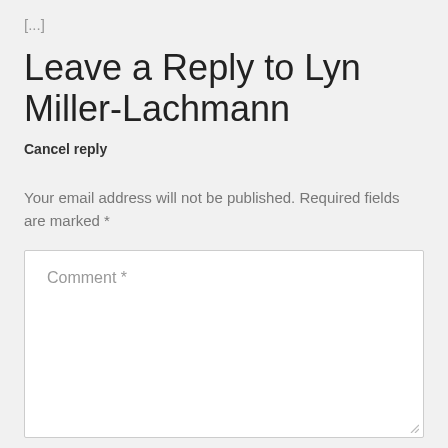[...]
Leave a Reply to Lyn Miller-Lachmann
Cancel reply
Your email address will not be published. Required fields are marked *
Comment *